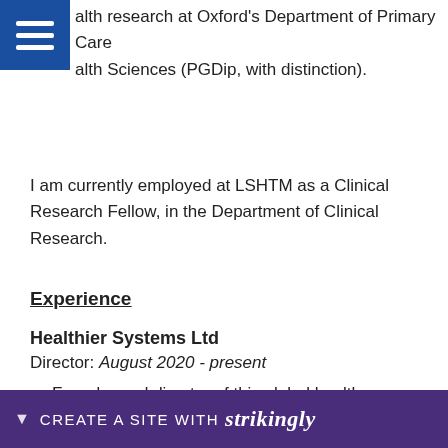health research at Oxford's Department of Primary Care Health Sciences (PGDip, with distinction).
I am currently employed at LSHTM as a Clinical Research Fellow, in the Department of Clinical Research.
Experience
Healthier Systems Ltd
Director: August 2020 - present
Founder and director of this global health consulting company, convening interdisciplinary multinational teams to provide technical assistance to WHO, the World Bank, and LMIC governments.
W... s... ing r...